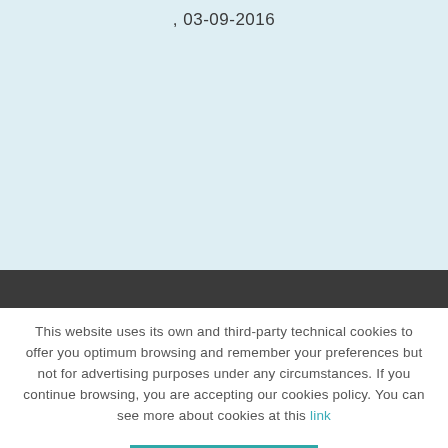, 03-09-2016
This website uses its own and third-party technical cookies to offer you optimum browsing and remember your preferences but not for advertising purposes under any circumstances. If you continue browsing, you are accepting our cookies policy. You can see more about cookies at this link
ACCEPT